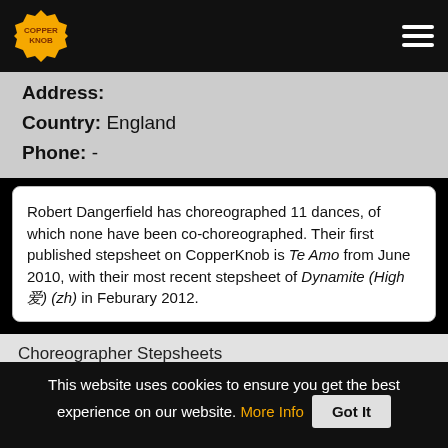CopperKnob [logo] [hamburger menu]
Address:
Country: England
Phone: -
Robert Dangerfield has choreographed 11 dances, of which none have been co-choreographed. Their first published stepsheet on CopperKnob is Te Amo from June 2010, with their most recent stepsheet of Dynamite (High爱) (zh) in Feburary 2012.
Choreographer Stepsheets
This website uses cookies to ensure you get the best experience on our website. More Info Got It